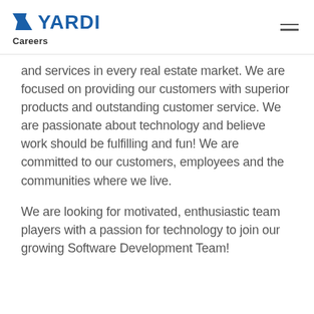YARDI Careers
and services in every real estate market. We are focused on providing our customers with superior products and outstanding customer service. We are passionate about technology and believe work should be fulfilling and fun! We are committed to our customers, employees and the communities where we live.
We are looking for motivated, enthusiastic team players with a passion for technology to join our growing Software Development Team!